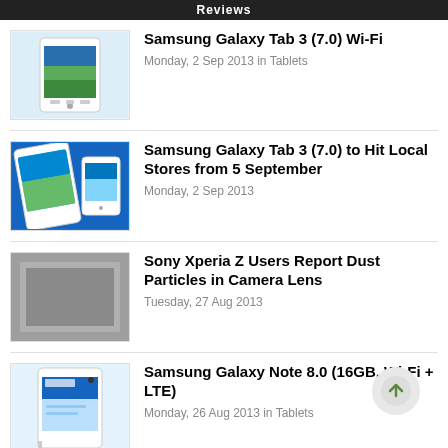Reviews
Samsung Galaxy Tab 3 (7.0) Wi-Fi
Monday, 2 Sep 2013 in Tablets
Samsung Galaxy Tab 3 (7.0) to Hit Local Stores from 5 September
Monday, 2 Sep 2013
Sony Xperia Z Users Report Dust Particles in Camera Lens
Tuesday, 27 Aug 2013
Samsung Galaxy Note 8.0 (16GB, Wi-Fi + LTE)
Monday, 26 Aug 2013 in Tablets
1 2 3 4 5 … 11 of 17 ›